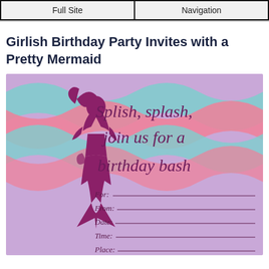Full Site | Navigation
Girlish Birthday Party Invites with a Pretty Mermaid
[Figure (illustration): A mermaid birthday party invitation card with a purple background and teal/pink wave decorations. A purple mermaid silhouette is on the left. Cursive text reads 'Splish, splash, join us for a birthday bash' with fill-in lines for For, From, Date, Time, Place.]